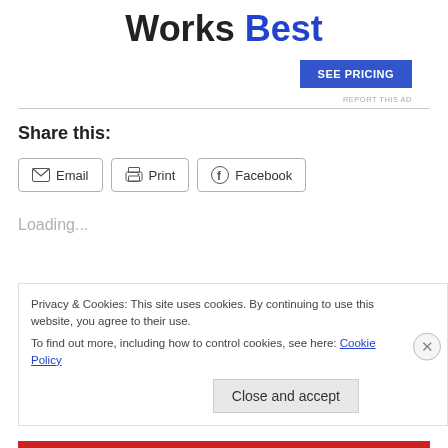Works Best
[Figure (other): SEE PRICING button advertisement with REPORT THIS AD label]
Share this:
Email  Print  Facebook
Loading...
Privacy & Cookies: This site uses cookies. By continuing to use this website, you agree to their use. To find out more, including how to control cookies, see here: Cookie Policy
Close and accept